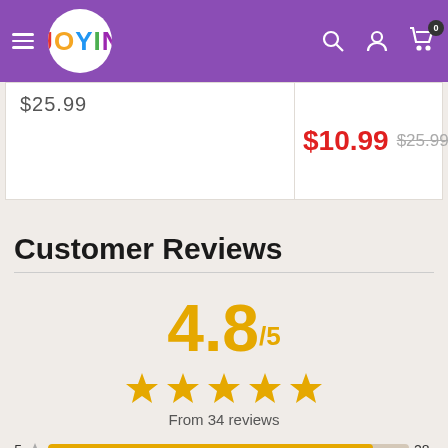Joyin navigation bar with logo, search, account, and cart (0 items)
$25.99 (partially visible price)
$10.99  $25.99
Customer Reviews
4.8/5
From 34 reviews
5 ★ [bar] 28